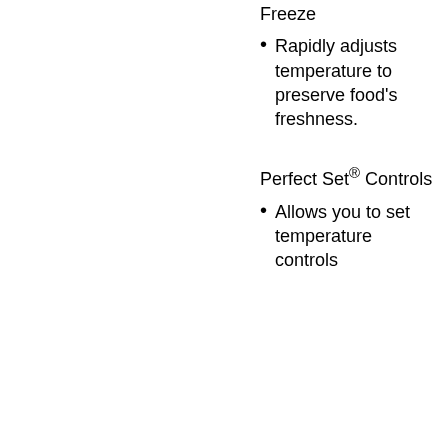Freeze
Rapidly adjusts temperature to preserve food's freshness.
Perfect Set® Controls
Allows you to set temperature controls